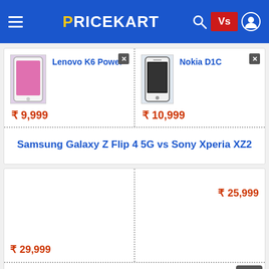PRICEKART
| Product | Product |
| --- | --- |
| Lenovo K6 Power | Nokia D1C |
| ₹9,999 | ₹10,999 |
Samsung Galaxy Z Flip 4 5G vs Sony Xperia XZ2
| Product | Product |
| --- | --- |
| ₹29,999 | ₹25,999 |
iQOO Neo 6 5G vs Xiaomi Redmi K50i